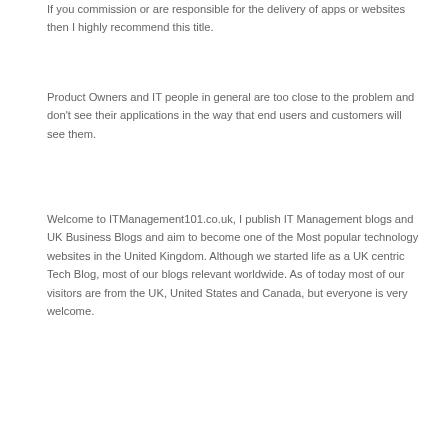If you commission or are responsible for the delivery of apps or websites then I highly recommend this title.
Product Owners and IT people in general are too close to the problem and don't see their applications in the way that end users and customers will see them.
Welcome to ITManagement101.co.uk, I publish IT Management blogs and UK Business Blogs and aim to become one of the Most popular technology websites in the United Kingdom. Although we started life as a UK centric Tech Blog, most of our blogs relevant worldwide. As of today most of our visitors are from the UK, United States and Canada, but everyone is very welcome.